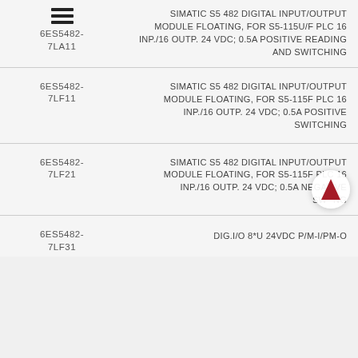| Part Number | Description |
| --- | --- |
| 6ES5482-7LA11 | SIMATIC S5 482 DIGITAL INPUT/OUTPUT MODULE FLOATING, FOR S5-115U/F PLC 16 INP./16 OUTP. 24 VDC; 0.5A POSITIVE READING AND SWITCHING |
| 6ES5482-7LF11 | SIMATIC S5 482 DIGITAL INPUT/OUTPUT MODULE FLOATING, FOR S5-115F PLC 16 INP./16 OUTP. 24 VDC; 0.5A POSITIVE SWITCHING |
| 6ES5482-7LF21 | SIMATIC S5 482 DIGITAL INPUT/OUTPUT MODULE FLOATING, FOR S5-115F PLC 16 INP./16 OUTP. 24 VDC; 0.5A NEGATIVE SWITCHING |
| 6ES5482-7LF31 | DIG.I/O 8*U 24VDC P/M-I/PM-O |